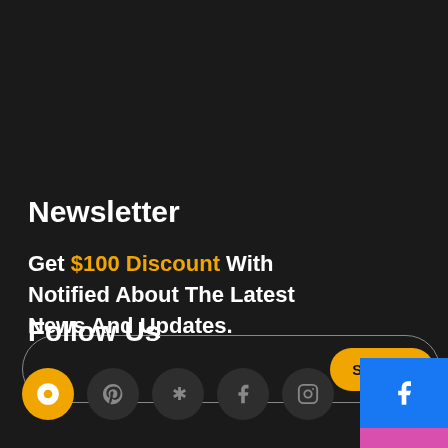Newsletter
Get $100 Discount With Notified About The Latest News And Updates.
[Figure (screenshot): Email subscription input bar with rounded border and yellow 'Subscribe' button on the right]
Follow Us
[Figure (infographic): Row of social media icon circles: yellow location/chat icon, Pinterest, Yelp, Facebook, Instagram]
[Figure (infographic): Right-edge sidebar with stacked social media icon blocks: Facebook (blue), Instagram (pink/magenta), Pinterest (red), Yelp (red), Google (yellow/orange)]